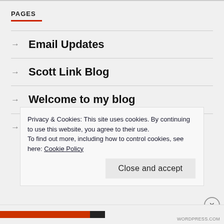PAGES
→ Email Updates
→ Scott Link Blog
→ Welcome to my blog
→ Who is Scott Link?
Privacy & Cookies: This site uses cookies. By continuing to use this website, you agree to their use.
To find out more, including how to control cookies, see here: Cookie Policy
Close and accept
WORDPRESS.COM